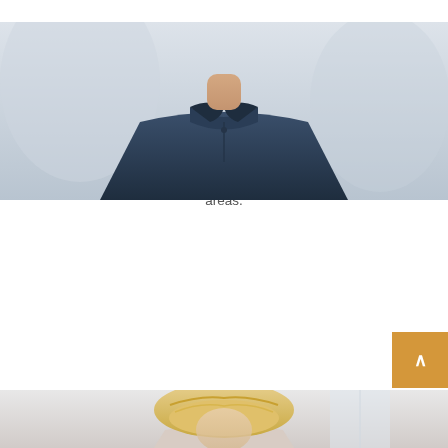[Figure (photo): Photo of Andrew Magaña, a man in a navy blue collared shirt, cropped to show neck and torso, with a light background]
BOARD MEMBER
ANDREW MAGAÑA
Andrew is a University of Missouri graduate and has been living in Fort Collins since 2012. After working in higher education for 7 years Andrew took a job at Odell Brewing Co. After several years in Sales, he joined the HR team to lead the Talent Acquisition and Diversity, Equity, and Inclusion areas.
[Figure (photo): Photo of a woman with blonde hair, partially visible at the bottom of the page]